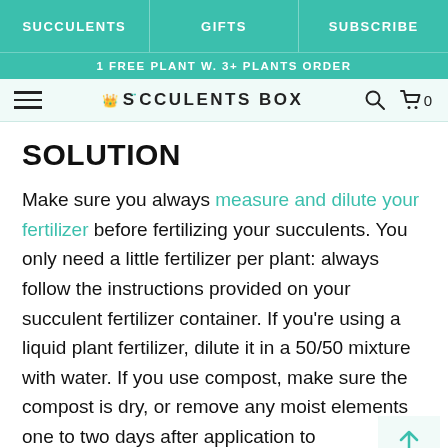SUCCULENTS | GIFTS | SUBSCRIBE
1 FREE PLANT W. 3+ PLANTS ORDER
SUCCULENTS BOX
SOLUTION
Make sure you always measure and dilute your fertilizer before fertilizing your succulents. You only need a little fertilizer per plant: always follow the instructions provided on your succulent fertilizer container. If you're using a liquid plant fertilizer, dilute it in a 50/50 mixture with water. If you use compost, make sure the compost is dry, or remove any moist elements one to two days after application to